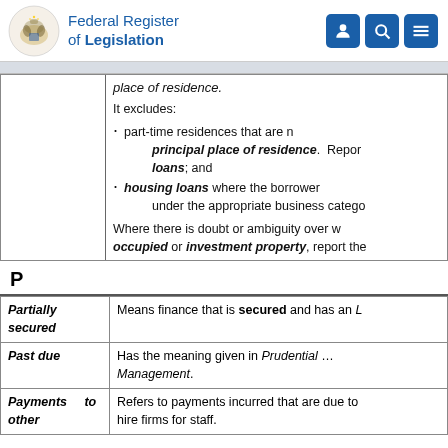Federal Register of Legislation
|  |  |
| --- | --- |
|  | place of residence. It excludes: · part-time residences that are not principal place of residence. Report loans; and · housing loans where the borrower under the appropriate business category. Where there is doubt or ambiguity over occupied or investment property, report the |
P
| Partially secured | Means finance that is secured and has an L |
| --- | --- |
| Partially secured | Means finance that is secured and has an L |
| Past due | Has the meaning given in Prudential ... Management. |
| Payments to other | Refers to payments incurred that are due to hire firms for staff. |